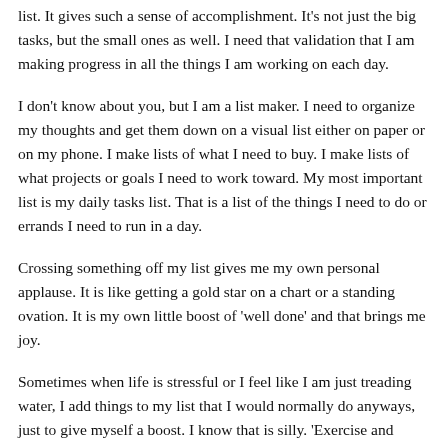list. It gives such a sense of accomplishment. It's not just the big tasks, but the small ones as well. I need that validation that I am making progress in all the things I am working on each day.
I don't know about you, but I am a list maker. I need to organize my thoughts and get them down on a visual list either on paper or on my phone. I make lists of what I need to buy. I make lists of what projects or goals I need to work toward. My most important list is my daily tasks list. That is a list of the things I need to do or errands I need to run in a day.
Crossing something off my list gives me my own personal applause. It is like getting a gold star on a chart or a standing ovation. It is my own little boost of 'well done' and that brings me joy.
Sometimes when life is stressful or I feel like I am just treading water, I add things to my list that I would normally do anyways, just to give myself a boost. I know that is silly. 'Exercise and stretching' I'll add it to my list. 'Take a shower' I add that to the list. 'Put away dishes' I add that to my list. And before I know it, when I leave the house in the morning, I've already crossed off four or five things from my list. It helps me to